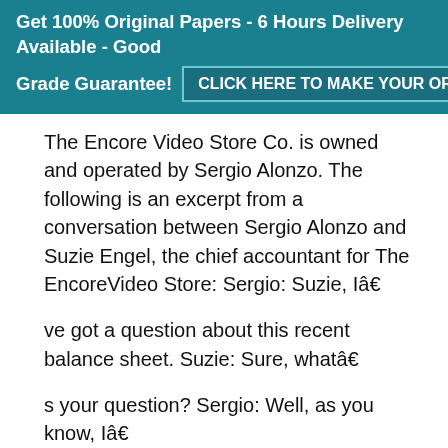Get 100% Original Papers - 6 Hours Delivery Available - Good Grade Guarantee! CLICK HERE TO MAKE YOUR ORDER
The Encore Video Store Co. is owned and operated by Sergio Alonzo. The following is an excerpt from a conversation between Sergio Alonzo and Suzie Engel, the chief accountant for The EncoreVideo Store: Sergio: Suzie, Iâ€
ve got a question about this recent balance sheet. Suzie: Sure, whatâ€
s your question? Sergio: Well, as you know, Iâ€
m applying for a bank loan to finance our new store in Cherokee, and I noticed that